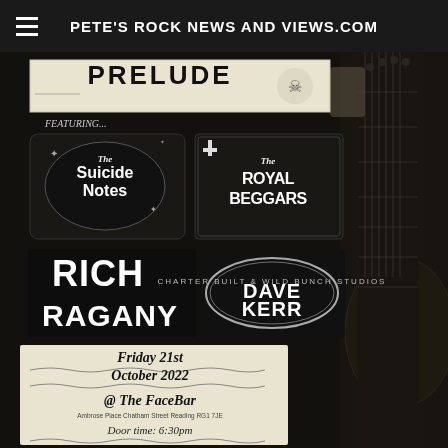PETE'S ROCK NEWS AND VIEWS.COM
[Figure (photo): Concert/gig promotional poster on dark textured background with guitar on right side. Features band logos: PRELUDE (top banner), The Suicide Notes, The Royal Beggars, Rich Ragany, Dave Kerr. Event details: Friday 21st October 2022 @ The FaceBar, Ambrose Place, Chatham Street, Reading, RG1 7JE. Door time: 6:30pm. FEATURING... text below prelude banner.]